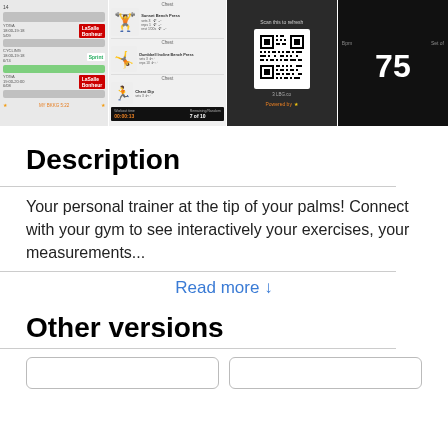[Figure (screenshot): Four mobile app screenshots showing a fitness/gym app: schedule list view, workout exercise view, QR code scan screen, and a BPM display screen showing 75.]
Description
Your personal trainer at the tip of your palms! Connect with your gym to see interactively your exercises, your measurements...
Read more ↓
Other versions